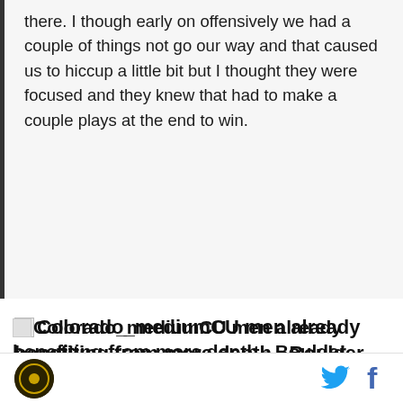there. I though early on offensively we had a couple of things not go our way and that caused us to hiccup a little bit but I thought they were focused and they knew that had to make a couple plays at the end to win.
CU men already benefiting from more depth - Boulder Daily Camera
"It`s nice to have a bench that you have confidence in," McClain said. "It`s easy as a coach when you turn around and you feel good about who you`re grabbing and sending in there. I think all of our new guys had some bright spots and some things they have to do better. And I thought all of our veteran